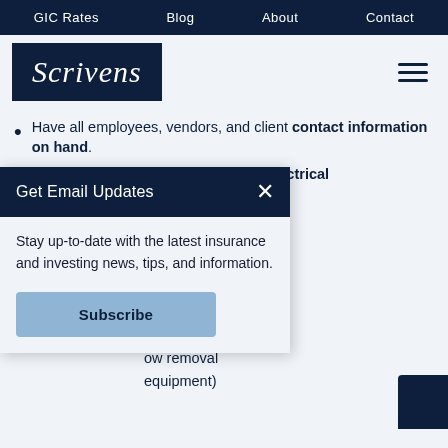GIC Rates   Blog   About   Contact
[Figure (logo): Scrivens logo in dark navy box with italic serif text, hamburger menu icon on right]
Have all employees, vendors, and client contact information on hand.
Check your procedure for restoring electrical ... on item basis.
... relocating ... aged stock and ...
... s to your disaster ... melt ice on ... ove traction), and ... ow removal equipment)
[Figure (screenshot): Email signup modal overlay with dark navy header 'Get Email Updates', close X button, body text 'Stay up-to-date with the latest insurance and investing news, tips, and information.', and a Subscribe button]